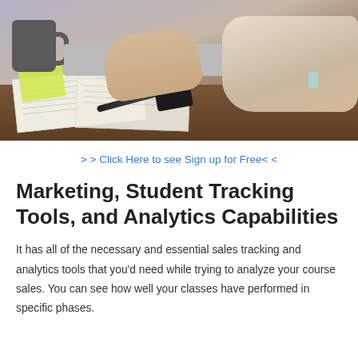[Figure (photo): Person typing on a laptop at a desk with a coffee mug, papers, sticky notes, pen, and small black object (phone or keys) visible on the wooden desk surface.]
> > Click Here to see Sign up for Free< <
Marketing, Student Tracking Tools, and Analytics Capabilities
It has all of the necessary and essential sales tracking and analytics tools that you'd need while trying to analyze your course sales. You can see how well your classes have performed in specific phases.